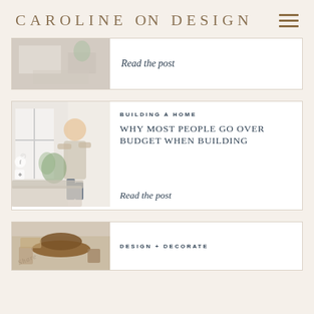CAROLINE ON DESIGN
[Figure (photo): Partial top blog card with interior room photo showing bed with plants]
Read the post
[Figure (photo): Blog card with photo of woman standing in bright living room holding plants]
BUILDING A HOME
WHY MOST PEOPLE GO OVER BUDGET WHEN BUILDING
Read the post
[Figure (photo): Partial bottom blog card with photo of hat on tray with other items]
DESIGN + DECORATE